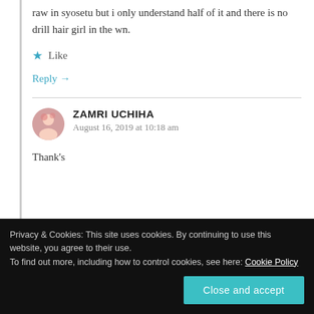raw in syosetu but i only understand half of it and there is no drill hair girl in the wn.
Like
Reply →
ZAMRI UCHIHA
August 16, 2019 at 10:18 am
Thank's
Privacy & Cookies: This site uses cookies. By continuing to use this website, you agree to their use. To find out more, including how to control cookies, see here: Cookie Policy
Close and accept